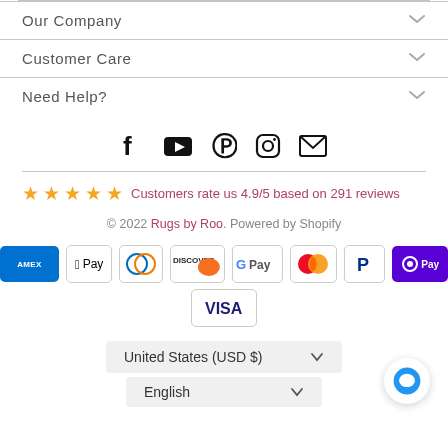Our Company
Customer Care
Need Help?
[Figure (other): Social media icons: Facebook, YouTube, Pinterest, Instagram, Email]
Customers rate us 4.9/5 based on 291 reviews
© 2022 Rugs by Roo. Powered by Shopify
[Figure (other): Payment method badges: AMEX, Apple Pay, Diners, Discover, Google Pay, Mastercard, PayPal, OPay, Visa]
United States (USD $)
English